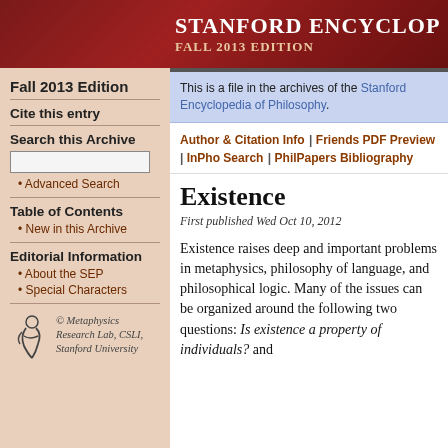Stanford Encyclop Fall 2013 Edition
Fall 2013 Edition
Cite this entry
Search this Archive
• Advanced Search
Table of Contents
• New in this Archive
Editorial Information
• About the SEP
• Special Characters
[Figure (logo): Metaphysics Research Lab, CSLI, Stanford University logo with stylized figure]
© Metaphysics Research Lab, CSLI, Stanford University
This is a file in the archives of the Stanford Encyclopedia of Philosophy.
Author & Citation Info | Friends PDF Preview | InPho Search | PhilPapers Bibliography
Existence
First published Wed Oct 10, 2012
Existence raises deep and important problems in metaphysics, philosophy of language, and philosophical logic. Many of the issues can be organized around the following two questions: Is existence a property of individuals? and